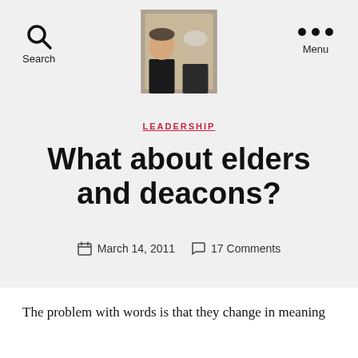Search | [profile photo] | Menu
LEADERSHIP
What about elders and deacons?
March 14, 2011   17 Comments
The problem with words is that they change in meaning